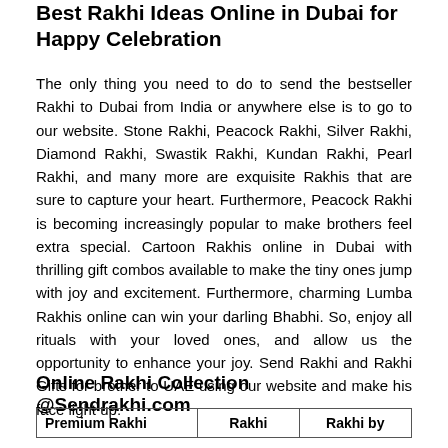Best Rakhi Ideas Online in Dubai for Happy Celebration
The only thing you need to do to send the bestseller Rakhi to Dubai from India or anywhere else is to go to our website. Stone Rakhi, Peacock Rakhi, Silver Rakhi, Diamond Rakhi, Swastik Rakhi, Kundan Rakhi, Pearl Rakhi, and many more are exquisite Rakhis that are sure to capture your heart. Furthermore, Peacock Rakhi is becoming increasingly popular to make brothers feel extra special. Cartoon Rakhis online in Dubai with thrilling gift combos available to make the tiny ones jump with joy and excitement. Furthermore, charming Lumba Rakhis online can win your darling Bhabhi. So, enjoy all rituals with your loved ones, and allow us the opportunity to enhance your joy. Send Rakhi and Rakhi Gifts for brother to UAE using our website and make his face light up.
Online Rakhi Collection @Sendrakhi.com
| Premium Rakhi | Rakhi | Rakhi by |
| --- | --- | --- |